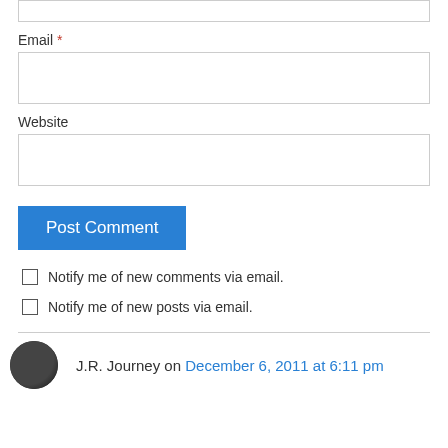Email *
Website
Post Comment
Notify me of new comments via email.
Notify me of new posts via email.
J.R. Journey on December 6, 2011 at 6:11 pm